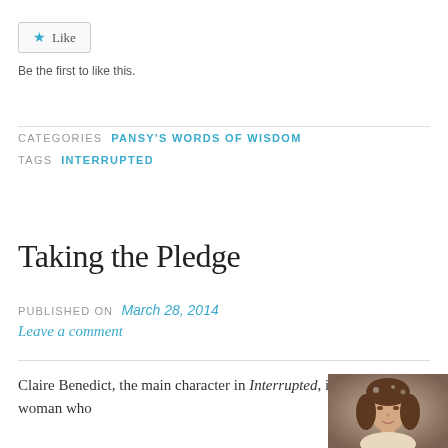Like
Be the first to like this.
CATEGORIES  PANSY'S WORDS OF WISDOM
TAGS  INTERRUPTED
Taking the Pledge
PUBLISHED ON March 28, 2014
Leave a comment
Claire Benedict, the main character in Interrupted, is a woman who
[Figure (photo): Portrait of a woman with curly brown hair]